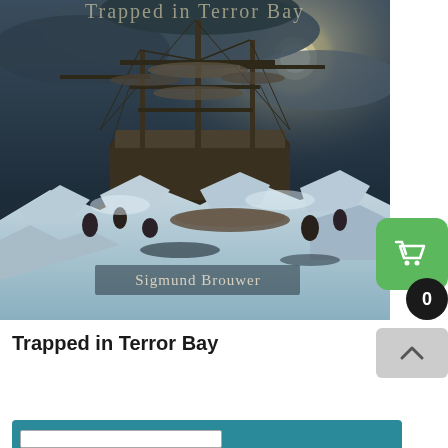[Figure (illustration): Book cover for 'Trapped in Terror Bay' by Sigmund Brouwer showing a tall sailing ship caught in Arctic ice with crew members struggling on the ice floes in a dramatic stormy scene. The text 'Sigmund Brouwer' appears at the bottom of the cover image.]
Trapped in Terror Bay